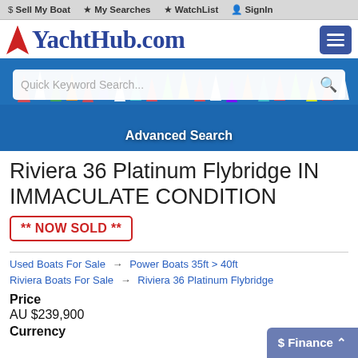$ Sell My Boat  My Searches  WatchList  SignIn
[Figure (logo): YachtHub.com logo with red star and blue text, plus hamburger menu button]
[Figure (screenshot): Hero banner showing sailboats racing on blue water with Quick Keyword Search box and Advanced Search link]
Riviera 36 Platinum Flybridge IN IMMACULATE CONDITION
** NOW SOLD **
Used Boats For Sale → Power Boats 35ft > 40ft
Riviera Boats For Sale → Riviera 36 Platinum Flybridge
Price
AU $239,900
Currency